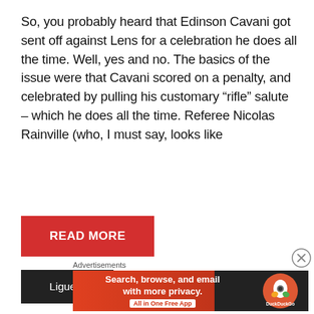So, you probably heard that Edinson Cavani got sent off against Lens for a celebration he does all the time. Well, yes and no. The basics of the issue were that Cavani scored on a penalty, and celebrated by pulling his customary “rifle” salute – which he does all the time. Referee Nicolas Rainville (who, I must say, looks like
[Figure (other): Red READ MORE button]
[Figure (other): Dark Ligue 1 tag label]
Advertisements
[Figure (other): DuckDuckGo advertisement banner: Search, browse, and email with more privacy. All in One Free App]